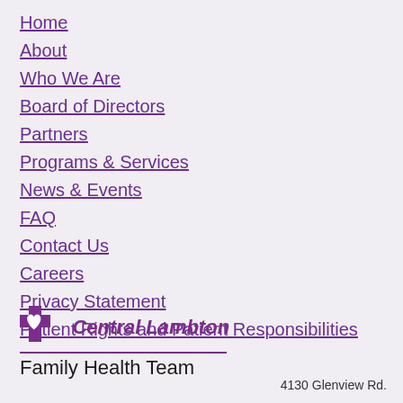Home
About
Who We Are
Board of Directors
Partners
Programs & Services
News & Events
FAQ
Contact Us
Careers
Privacy Statement
Patient Rights and Patient Responsibilities
[Figure (logo): Central Lambton Family Health Team logo with purple cross and heart icon, italic purple text 'Central Lambton', divider line, and 'Family Health Team' beneath]
4130 Glenview Rd.